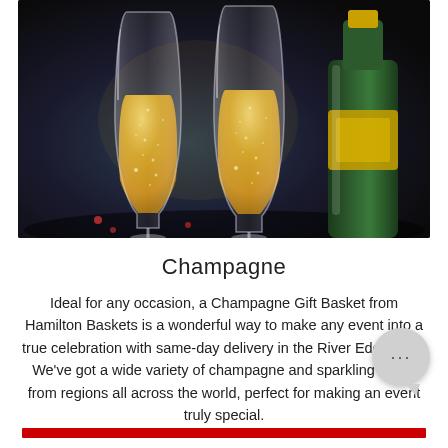[Figure (photo): Two champagne flutes filled with golden sparkling champagne with bubbles rising, and a green champagne bottle in the background, on a dark surface with bokeh lighting]
Champagne
Ideal for any occasion, a Champagne Gift Basket from Hamilton Baskets is a wonderful way to make any event into a true celebration with same-day delivery in the River Edge area. We've got a wide variety of champagne and sparkling wines from regions all across the world, perfect for making an event truly special.